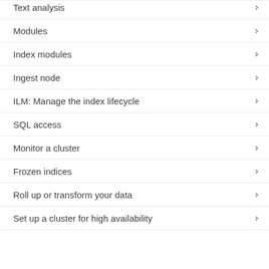Text analysis
Modules
Index modules
Ingest node
ILM: Manage the index lifecycle
SQL access
Monitor a cluster
Frozen indices
Roll up or transform your data
Set up a cluster for high availability